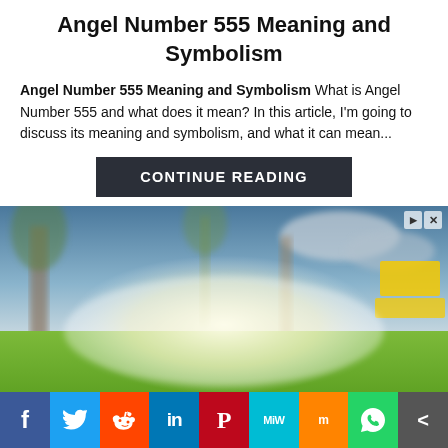Angel Number 555 Meaning and Symbolism
Angel Number 555 Meaning and Symbolism What is Angel Number 555 and what does it mean? In this article, I'm going to discuss its meaning and symbolism, and what it can mean...
CONTINUE READING
[Figure (photo): Outdoor scene with blurred trees, green grass, bright light in center, and yellow signage on the right side. Advertisement overlay with play and close controls.]
Social share bar: Facebook, Twitter, Reddit, LinkedIn, Pinterest, MeWe, Mix, WhatsApp, More